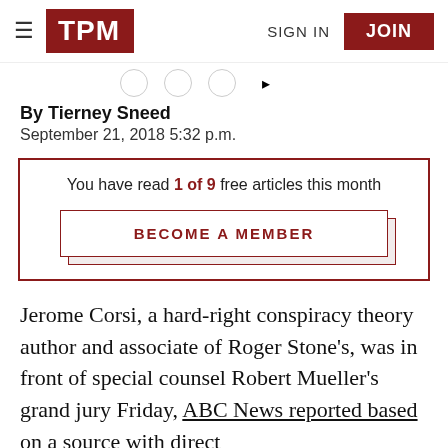TPM | SIGN IN | JOIN
By Tierney Sneed
September 21, 2018 5:32 p.m.
You have read 1 of 9 free articles this month
BECOME A MEMBER
Jerome Corsi, a hard-right conspiracy theory author and associate of Roger Stone's, was in front of special counsel Robert Mueller's grand jury Friday, ABC News reported based on a source with direct